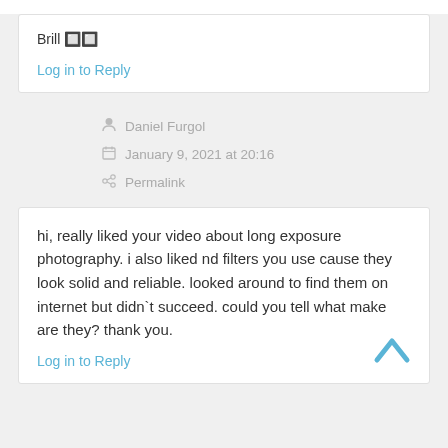Brill 🔲🔲
Log in to Reply
Daniel Furgol
January 9, 2021 at 20:16
Permalink
hi, really liked your video about long exposure photography. i also liked nd filters you use cause they look solid and reliable. looked around to find them on internet but didn`t succeed. could you tell what make are they? thank you.
Log in to Reply